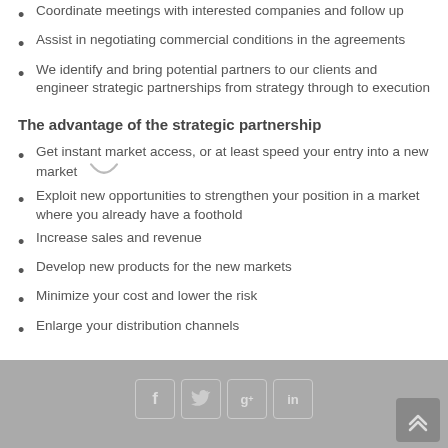Coordinate meetings with interested companies and follow up
Assist in negotiating commercial conditions in the agreements
We identify and bring potential partners to our clients and engineer strategic partnerships from strategy through to execution
The advantage of the strategic partnership
Get instant market access, or at least speed your entry into a new market
Exploit new opportunities to strengthen your position in a market where you already have a foothold
Increase sales and revenue
Develop new products for the new markets
Minimize your cost and lower the risk
Enlarge your distribution channels
[Figure (infographic): Footer bar with social media icons: Facebook (f), Twitter (bird), Google+ (g+), LinkedIn (in), and a back-to-top button with double chevron arrows]